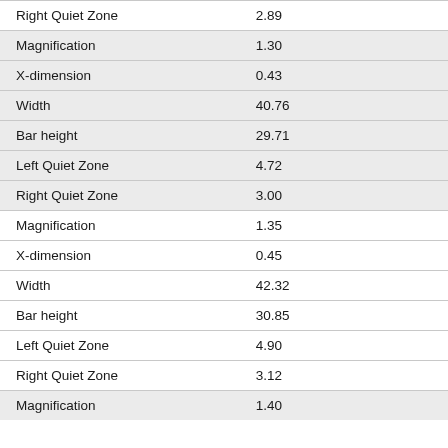| Property | Value |
| --- | --- |
| Right Quiet Zone | 2.89 |
| Magnification | 1.30 |
| X-dimension | 0.43 |
| Width | 40.76 |
| Bar height | 29.71 |
| Left Quiet Zone | 4.72 |
| Right Quiet Zone | 3.00 |
| Magnification | 1.35 |
| X-dimension | 0.45 |
| Width | 42.32 |
| Bar height | 30.85 |
| Left Quiet Zone | 4.90 |
| Right Quiet Zone | 3.12 |
| Magnification | 1.40 |